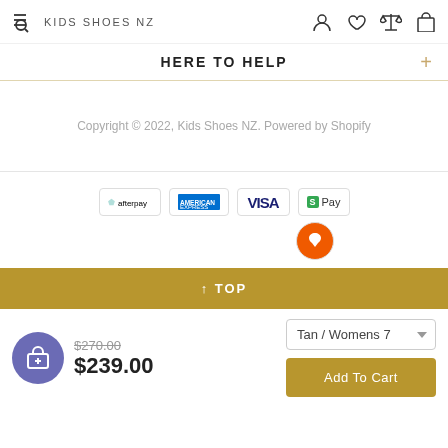KIDS SHOES NZ
HERE TO HELP
Copyright © 2022, Kids Shoes NZ. Powered by Shopify
[Figure (logo): Payment method badges: Afterpay, American Express, Visa, Shop Pay, and an orange badge]
↑ TOP
$270.00 (strikethrough) $239.00
Tan / Womens 7
Add To Cart